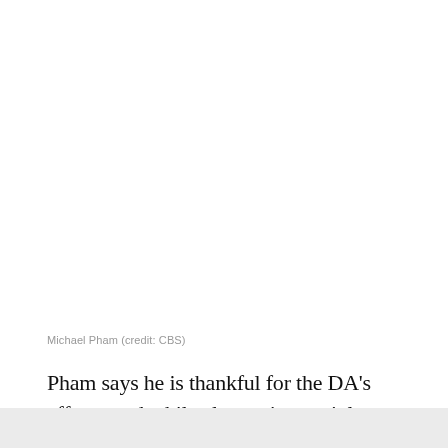Michael Pham (credit: CBS)
Pham says he is thankful for the DA's efforts, and while closure is certainly something his family is looking for, justice for Lyndsay is what they want.